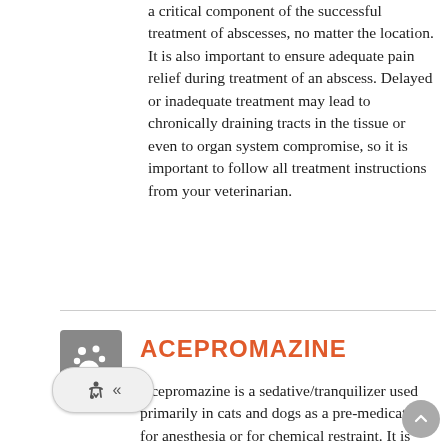a critical component of the successful treatment of abscesses, no matter the location. It is also important to ensure adequate pain relief during treatment of an abscess. Delayed or inadequate treatment may lead to chronically draining tracts in the tissue or even to organ system compromise, so it is important to follow all treatment instructions from your veterinarian.
ACEPROMAZINE
Acepromazine is a sedative/tranquilizer used primarily in cats and dogs as a pre-medication for anesthesia or for chemical restraint. It is given by injection in the clinic or by mouth in the form of a tablet. The most common side effect is low blood pressure. Acepromazine should not be used in conjunction with certain toxicities, or in pets with heart disease, low blood pressure. It should be used cautiously in pets with mild liver or heart disease.